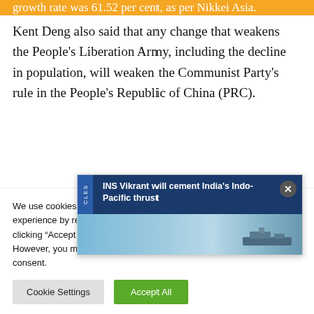growth rate was 61.52 per cent, as per Nikkei Asia.
Kent Deng also said that any change that weakens the People's Liberation Army, including the decline in population, will weaken the Communist Party's rule in the People's Republic of China (PRC).
“In the PRC point… to safeguard China…
[Figure (screenshot): Popup notification: 'INS Vikrant will cement India’s Indo-Pacific thrust' with a ship image and close button, overlaid on the article text.]
We use cookies on our website to give you the most relevant experience by remembering your preferences and repeat visits. By clicking “Accept All”, you consent to the use of ALL the cookies. However, you may visit "Cookie Settings" to provide a controlled consent.